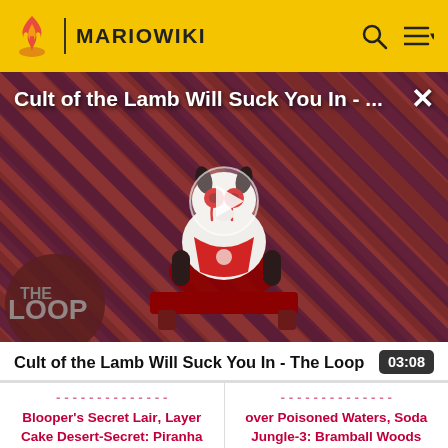MARIOWIKI
[Figure (screenshot): Video thumbnail for 'Cult of the Lamb Will Suck You In - The Loop' showing a cartoon lamb character with red eyes on a striped red/black background, with a large play button in the center. 'THE LOOP' text visible at bottom left. White X close button at top right.]
Cult of the Lamb Will Suck You In - The Loop
03:08
Blooper's Secret Lair, Layer Cake Desert-Secret: Piranha Plants on Ice, Soda Jungle-Airship:
over Poisoned Waters, Soda Jungle-3: Bramball Woods